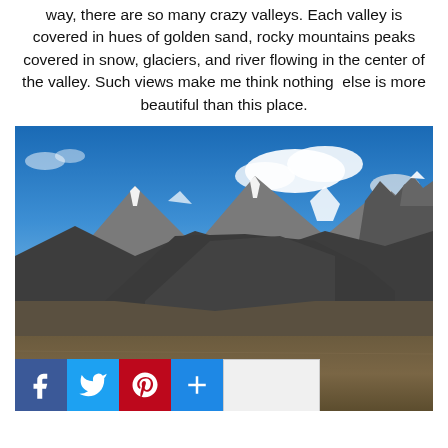way, there are so many crazy valleys. Each valley is covered in hues of golden sand, rocky mountains peaks covered in snow, glaciers, and river flowing in the center of the valley. Such views make me think nothing else is more beautiful than this place.
[Figure (photo): Photograph of a high-altitude mountain landscape with rocky peaks covered in snow, a broad valley floor of brown rocky terrain, blue sky with white clouds, and a road visible at the bottom. Watermark reads ©WWW.ALLGUDTHINGS.COM. Social sharing buttons (Facebook, Twitter, Pinterest, Plus, Save) overlay the bottom-left of the image.]